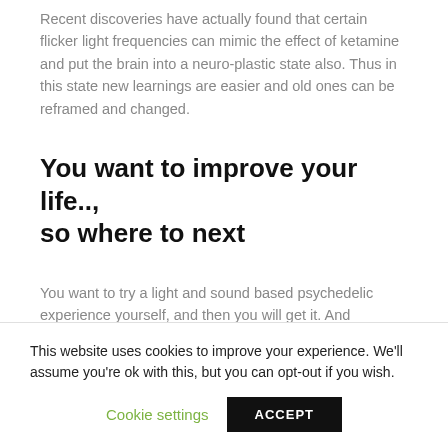Recent discoveries have actually found that certain flicker light frequencies can mimic the effect of ketamine and put the brain into a neuro-plastic state also. Thus in this state new learnings are easier and old ones can be reframed and changed.
You want to improve your life.., so where to next
You want to try a light and sound based psychedelic experience yourself, and then you will get it. And remember that the recommendations of set and
This website uses cookies to improve your experience. We'll assume you're ok with this, but you can opt-out if you wish.
Cookie settings
ACCEPT